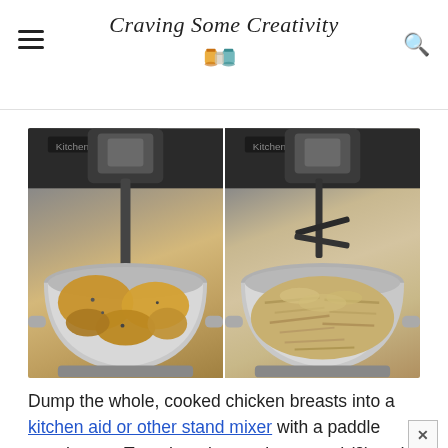Craving Some Creativity
[Figure (photo): Two side-by-side photos of a KitchenAid stand mixer bowl: left shows whole cooked chicken breasts in the bowl, right shows the chicken after being shredded by the paddle attachment.]
Dump the whole, cooked chicken breasts into a kitchen aid or other stand mixer with a paddle attachment. Turn the mixer on low speed (2) and mix until the chicken is magically shredded! You